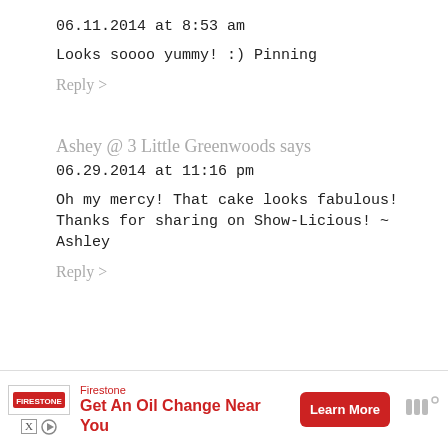06.11.2014 at 8:53 am
Looks soooo yummy! :) Pinning
Reply >
Ashey @ 3 Little Greenwoods says
06.29.2014 at 11:16 pm
Oh my mercy! That cake looks fabulous! Thanks for sharing on Show-Licious! ~ Ashley
Reply >
[Figure (other): Firestone advertisement banner: Get An Oil Change Near You, Learn More button]